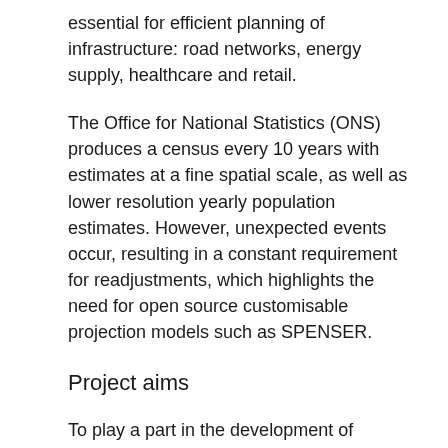essential for efficient planning of infrastructure: road networks, energy supply, healthcare and retail.
The Office for National Statistics (ONS) produces a census every 10 years with estimates at a fine spatial scale, as well as lower resolution yearly population estimates. However, unexpected events occur, resulting in a constant requirement for readjustments, which highlights the need for open source customisable projection models such as SPENSER.
Project aims
To play a part in the development of SPENSER, specifically: